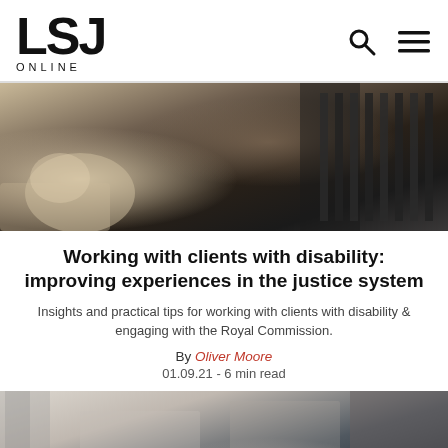LSJ ONLINE
[Figure (photo): Close-up photograph showing hands holding or working with dark fabric or material, with dark industrial elements in background]
Working with clients with disability: improving experiences in the justice system
Insights and practical tips for working with clients with disability & engaging with the Royal Commission.
By Oliver Moore
01.09.21 - 6 min read
[Figure (photo): Two men in business suits walking outdoors near a modern building, one older with grey hair, one younger, both smiling]